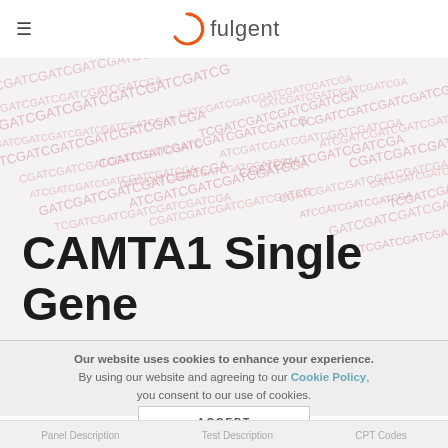≡   fulgent
[Figure (illustration): Hero banner with DNA sequence text background (GATCGATCGATC repeating pattern in pink/rose color on light grey background)]
CAMTA1 Single Gene
Our website uses cookies to enhance your experience. By using our website and agreeing to our Cookie Policy, you consent to our use of cookies.
ACCEPT
Panel Description   Test Description   CPT Codes